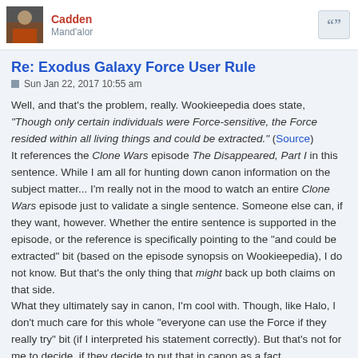Cadden
Mand'alor
Re: Exodus Galaxy Force User Rule
Sun Jan 22, 2017 10:55 am
Well, and that's the problem, really. Wookieepedia does state, "Though only certain individuals were Force-sensitive, the Force resided within all living things and could be extracted." (Source)
It references the Clone Wars episode The Disappeared, Part I in this sentence. While I am all for hunting down canon information on the subject matter... I'm really not in the mood to watch an entire Clone Wars episode just to validate a single sentence. Someone else can, if they want, however. Whether the entire sentence is supported in the episode, or the reference is specifically pointing to the "and could be extracted" bit (based on the episode synopsis on Wookieepedia), I do not know. But that's the only thing that might back up both claims on that side.
What they ultimately say in canon, I'm cool with. Though, like Halo, I don't much care for this whole "everyone can use the Force if they really try" bit (if I interpreted his statement correctly). But that's not for me to decide, if they decide to put that in canon as a fact.
They do seem to be leaning in that direction, in canon, yes, but we have